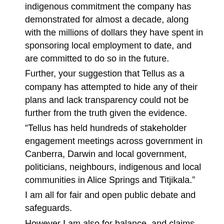indigenous commitment the company has demonstrated for almost a decade, along with the millions of dollars they have spent in sponsoring local employment to date, and are committed to do so in the future.
Further, your suggestion that Tellus as a company has attempted to hide any of their plans and lack transparency could not be further from the truth given the evidence.
“Tellus has held hundreds of stakeholder engagement meetings across government in Canberra, Darwin and local government, politicians, neighbours, indigenous and local communities in Alice Springs and Titjikala.”
I am all for fair and open public debate and safeguards.
However I am also for balance, and claims that